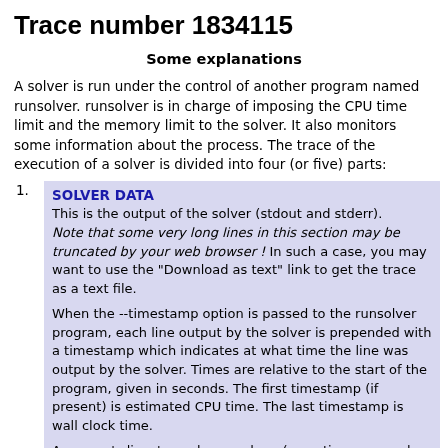Trace number 1834115
Some explanations
A solver is run under the control of another program named runsolver. runsolver is in charge of imposing the CPU time limit and the memory limit to the solver. It also monitors some information about the process. The trace of the execution of a solver is divided into four (or five) parts:
SOLVER DATA
This is the output of the solver (stdout and stderr).
Note that some very long lines in this section may be truncated by your web browser ! In such a case, you may want to use the "Download as text" link to get the trace as a text file.

When the --timestamp option is passed to the runsolver program, each line output by the solver is prepended with a timestamp which indicates at what time the line was output by the solver. Times are relative to the start of the program, given in seconds. The first timestamp (if present) is estimated CPU time. The last timestamp is wall clock time.

As some 'v lines' may be very long (sometimes several megabytes), the 'v line' output by your solver may be split on several lines to help limit the size of the trace recorded in the database. In any case, the exact output of your solver is preserved in a trace file.
VERIFIER DATA
The output of the solver is piped to a verifier program which will